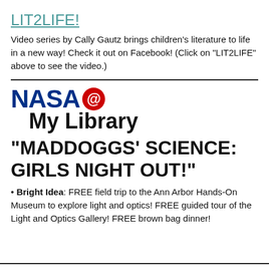LIT2LIFE!
Video series by Cally Gautz brings children's literature to life in a new way! Check it out on Facebook! (Click on "LIT2LIFE" above to see the video.)
[Figure (logo): NASA @ My Library logo — NASA in large bold blue text with a red circle containing @ symbol, followed by 'My Library' in bold black text below]
"MADDOGGS' SCIENCE: GIRLS NIGHT OUT!"
Bright Idea: FREE field trip to the Ann Arbor Hands-On Museum to explore light and optics! FREE guided tour of the Light and Optics Gallery! FREE brown bag dinner!